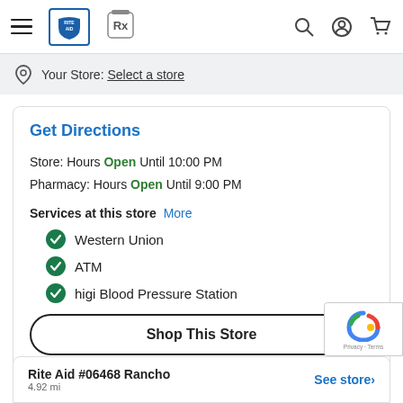Rite Aid navigation bar with logo, Rx icon, search, account, and cart icons
Your Store: Select a store
Get Directions
Store: Hours Open Until 10:00 PM
Pharmacy: Hours Open Until 9:00 PM
Services at this store More
Western Union
ATM
higi Blood Pressure Station
Shop This Store
Rite Aid #06468 Rancho  4.92 mi  See store